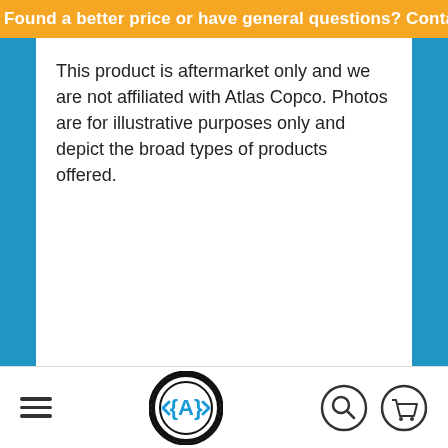Found a better price or have general questions? Contact us here
This product is aftermarket only and we are not affiliated with Atlas Copco. Photos are for illustrative purposes only and depict the broad types of products offered.
[Figure (photo): Black and white industrial scene showing pipes, valves and industrial equipment at a refinery or factory]
Navigation bar with hamburger menu, logo (A), search icon, and cart icon